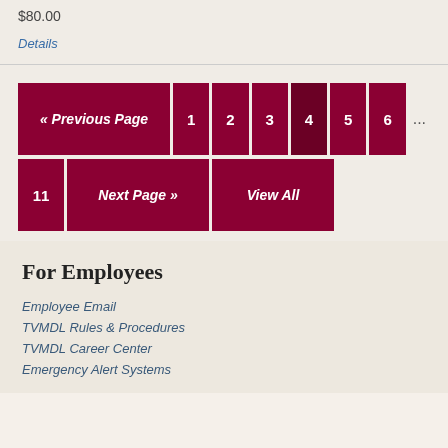$80.00
Details
« Previous Page 1 2 3 4 5 6 ... 11 Next Page » View All
For Employees
Employee Email
TVMDL Rules & Procedures
TVMDL Career Center
Emergency Alert Systems